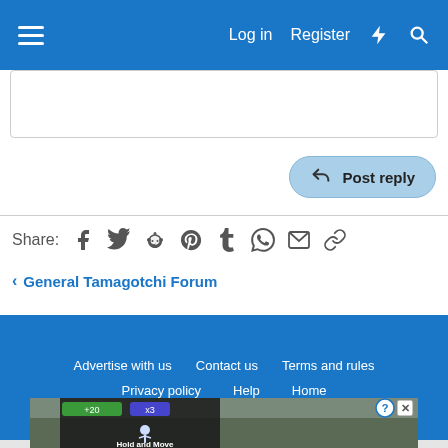Log in  Register
Post reply
Share:
General Tamagotchi Forum
Advertise with us  Contact us  Terms and rules  Privacy policy  Help  Home
Community platform by XenForo® © 2010-2022 XenForo Ltd.
[Figure (screenshot): Advertisement banner showing Hold and Move game with trees background]